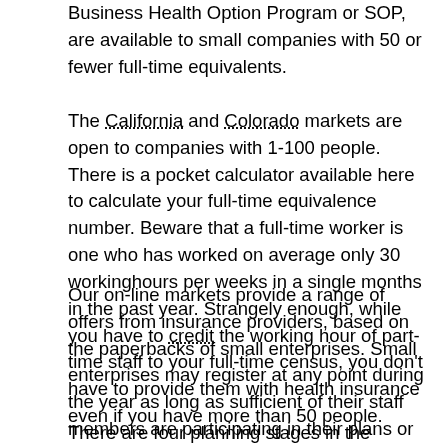Business Health Option Program or SOP, are available to small companies with 50 or fewer full-time equivalents.
The California and Colorado markets are open to companies with 1-100 people. There is a pocket calculator available here to calculate your full-time equivalence number. Beware that a full-time worker is one who has worked on average only 30 workinghours per weeks in a single months in the past year. Strangely enough, while you have to credit the working hour of part-time staff to your full-time census, you don't have to provide them with health insurance even if you have more than 50 people.
Our on-line markets provide a range of offers from insurance providers, based on the paperbacks of small enterprises. Small enterprises may register at any point during the year as long as sufficient of their staff members are participating in their plans or otherwise insured. Otherwise, your small business can register during the open enrolment period between 15 November and 15 December of each year.
There are four planning stages in the market places, which are defined by the reasonable maintenance law: brass, the least